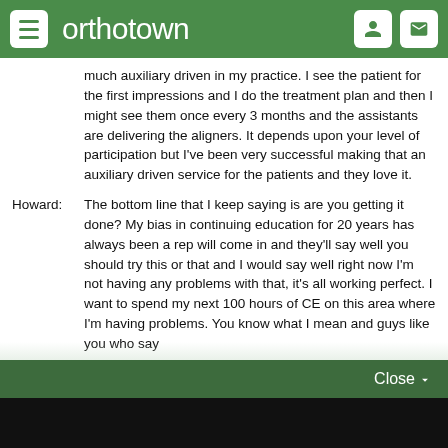orthotown
much auxiliary driven in my practice. I see the patient for the first impressions and I do the treatment plan and then I might see them once every 3 months and the assistants are delivering the aligners. It depends upon your level of participation but I've been very successful making that an auxiliary driven service for the patients and they love it.
Howard: The bottom line that I keep saying is are you getting it done? My bias in continuing education for 20 years has always been a rep will come in and they'll say well you should try this or that and I would say well right now I'm not having any problems with that, it's all working perfect. I want to spend my next 100 hours of CE on this area where I'm having problems. You know what I mean and guys like you who say
Close
Vote on the products and services that your practice can't live without–win $100 gift cards and more!
VOTE NOW